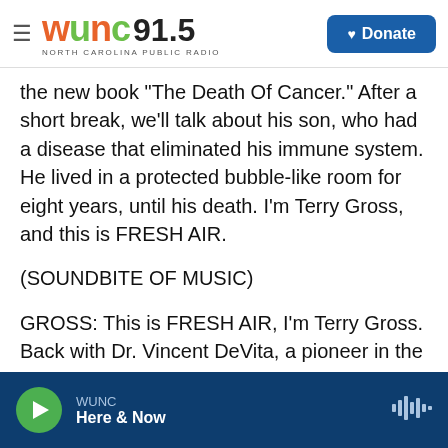WUNC 91.5 NORTH CAROLINA PUBLIC RADIO | Donate
the new book "The Death Of Cancer." After a short break, we'll talk about his son, who had a disease that eliminated his immune system. He lived in a protected bubble-like room for eight years, until his death. I'm Terry Gross, and this is FRESH AIR.
(SOUNDBITE OF MUSIC)
GROSS: This is FRESH AIR, I'm Terry Gross. Back with Dr. Vincent DeVita, a pioneer in the field of oncology and the author of the new book "The Death Of Cancer." He was on the team that came up with the combination chemotherapy regiment
WUNC | Here & Now